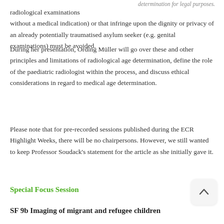determination for legal purposes.
radiological examinations without a medical indication) or that infringe upon the dignity or privacy of an already potentially traumatised asylum seeker (e.g. genital examinations) must be avoided.
During her presentation, Ording Müller will go over these and other principles and limitations of radiological age determination, define the role of the paediatric radiologist within the process, and discuss ethical considerations in regard to medical age determination.
Please note that for pre-recorded sessions published during the ECR Highlight Weeks, there will be no chairpersons. However, we still wanted to keep Professor Soudack's statement for the article as she initially gave it.
Special Focus Session
SF 9b Imaging of migrant and refugee children